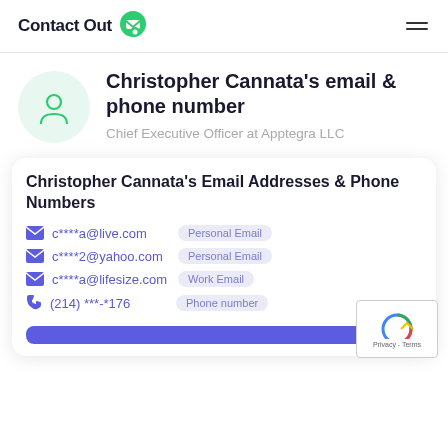ContactOut
Christopher Cannata's email & phone number
Chief Executive Officer at Apptegra LLC
Christopher Cannata's Email Addresses & Phone Numbers
c****a@live.com  Personal Email
c****2@yahoo.com  Personal Email
c****a@lifesize.com  Work Email
(214) ***-*176  Phone number